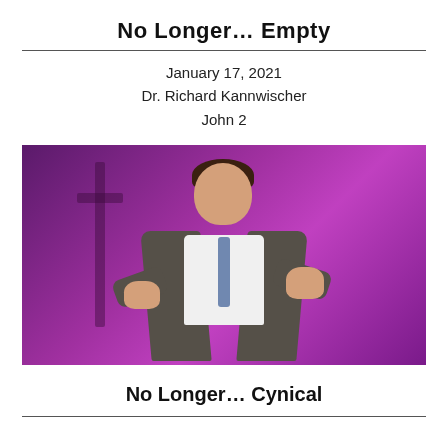No Longer… Empty
January 17, 2021
Dr. Richard Kannwischer
John 2
[Figure (photo): A man in a dark suit with a blue tie speaking or presenting, with both hands raised expressively, against a purple/magenta background with a cross silhouette visible.]
No Longer… Cynical